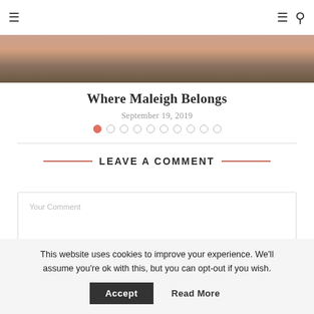Navigation bar with hamburger menu and search icon
[Figure (photo): Partial photo showing people, cropped at top of page]
Where Maleigh Belongs
September 19, 2019
[Figure (other): Pagination dots: 10 dots with first dot active (filled orange-red)]
LEAVE A COMMENT
Your Comment
This website uses cookies to improve your experience. We'll assume you're ok with this, but you can opt-out if you wish.
Accept   Read More